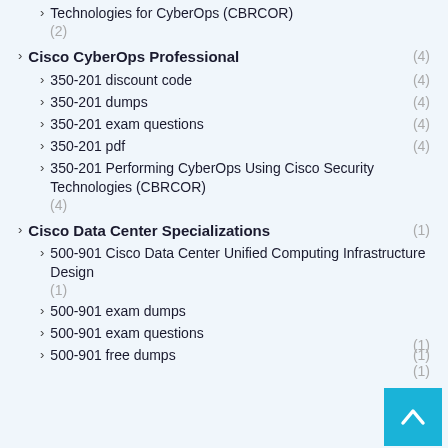Technologies for CyberOps (CBRCOR) (2)
Cisco CyberOps Professional (4)
350-201 discount code (4)
350-201 dumps (4)
350-201 exam questions (4)
350-201 pdf (4)
350-201 Performing CyberOps Using Cisco Security Technologies (CBRCOR) (4)
Cisco Data Center Specializations (1)
500-901 Cisco Data Center Unified Computing Infrastructure Design (1)
500-901 exam dumps (1)
500-901 exam questions (1)
500-901 free dumps (1)